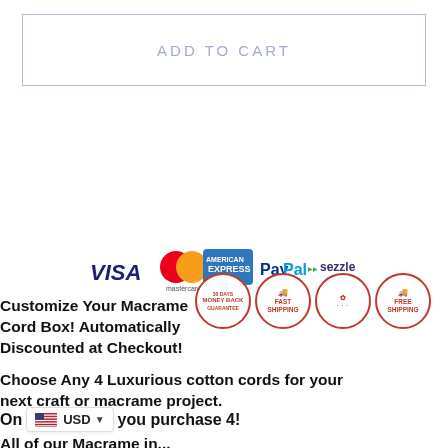ADD TO CART
[Figure (other): Payment icons: Visa, Mastercard, American Express, PayPal, Sezzle]
Customize Your Macrame Cord Box! Automatically Discounted at Checkout!
[Figure (other): Trust badges: 30 days Money Back Guarantee, Fast Shipping, sun/leaf logo, Free Shipping]
Choose Any 4 Luxurious cotton cords for your next craft or macrame project.
On... USD you purchase 4!
All of our Macrame in...